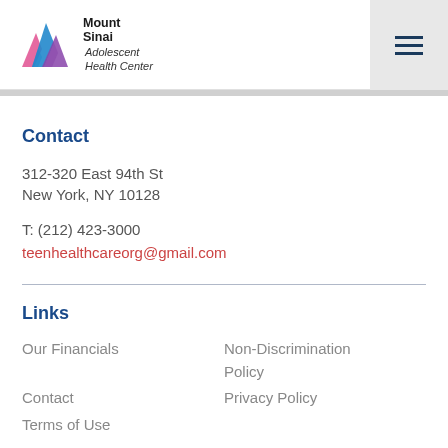[Figure (logo): Mount Sinai Adolescent Health Center logo with mountain peaks icon in blue, pink, and purple]
Contact
312-320 East 94th St
New York, NY 10128
T: (212) 423-3000
teenhealthcareorg@gmail.com
Links
Our Financials
Non-Discrimination Policy
Contact
Privacy Policy
Terms of Use